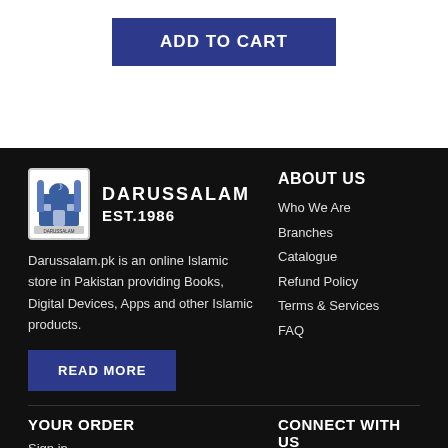ADD TO CART
[Figure (logo): Darussalam logo — building/mosque icon in blue and grey with Arabic text at bottom]
DARUSSALAM EST.1986
ABOUT US
Darussalam.pk is an online Islamic store in Pakistan providing Books, Digital Devices, Apps and other Islamic products.
Who We Are
Branches
Catalogue
Refund Policy
Terms & Services
FAQ
READ MORE
YOUR ORDER
CONNECT WITH US
Sign in
[Figure (illustration): Social media icons: Facebook, Instagram, Twitter (X), YouTube]